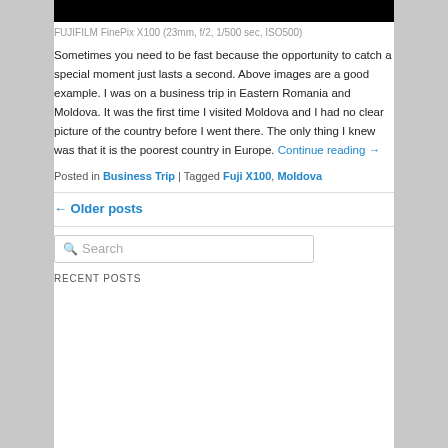[Figure (photo): Black image bar at top (cropped photograph)]
FUJIFILM FinePix X100 (23mm, f/2, 1/500 sec, ISO500)
Sometimes you need to be fast because the opportunity to catch a special moment just lasts a second. Above images are a good example. I was on a business trip in Eastern Romania and Moldova. It was the first time I visited Moldova and I had no clear picture of the country before I went there. The only thing I knew was that it is the poorest country in Europe. Continue reading →
Posted in Business Trip | Tagged Fuji X100, Moldova
← Older posts
Search
RECENT POSTS